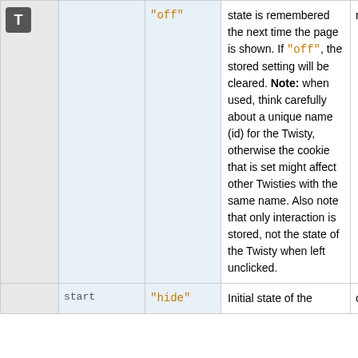|  | Parameter | Default | Description | Optional |
| --- | --- | --- | --- | --- |
| T | "off" | "off" | state is remembered the next time the page is shown. If "off", the stored setting will be cleared. Note: when used, think carefully about a unique name (id) for the Twisty, otherwise the cookie that is set might affect other Twisties with the same name. Also note that only interaction is stored, not the state of the Twisty when left unclicked. | no default |
|  | start | "hide" | Initial state of the | optional, |